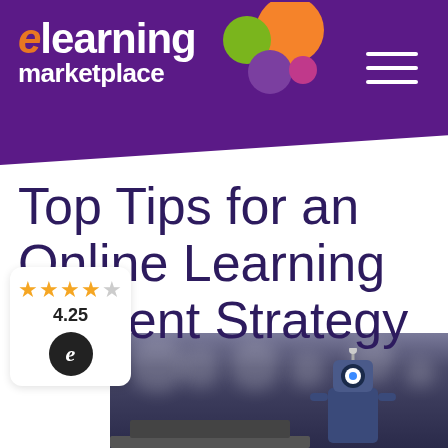[Figure (logo): elearning marketplace logo with colorful bubbles on purple background header banner]
Top Tips for an Online Learning Content Strategy
[Figure (infographic): Rating badge showing 4 stars out of 5 (4.25), numeric score 4.25, and an 'e' circular badge below]
[Figure (photo): Blurred bokeh background photo showing a laptop with a robot/character figure, dark blue-grey tones]